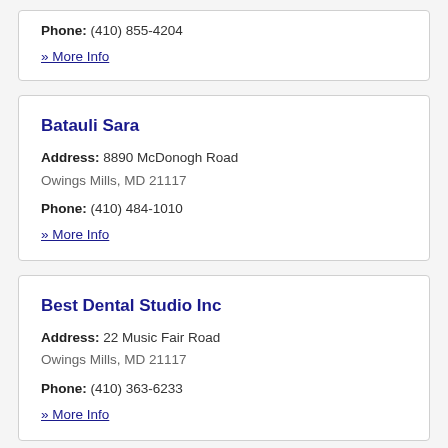Phone: (410) 855-4204
» More Info
Batauli Sara
Address: 8890 McDonogh Road
Owings Mills, MD 21117
Phone: (410) 484-1010
» More Info
Best Dental Studio Inc
Address: 22 Music Fair Road
Owings Mills, MD 21117
Phone: (410) 363-6233
» More Info